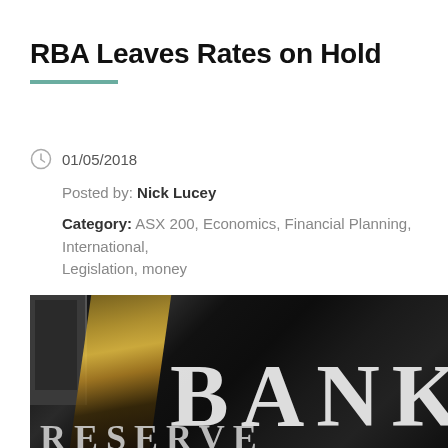RBA Leaves Rates on Hold
01/05/2018
Posted by: Nick Lucey
Category: ASX 200, Economics, Financial Planning, International, Legislation, money
No Comments
[Figure (photo): Close-up photo of the Reserve Bank of Australia building exterior, showing large metallic BANK lettering on dark stone facade, with glass building reflections in background]